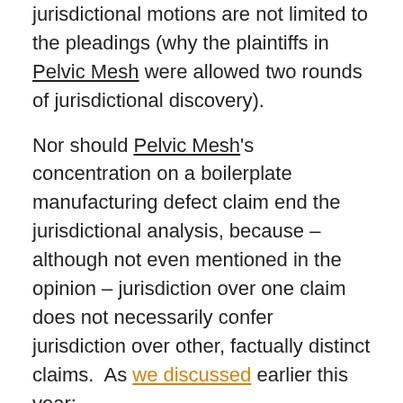jurisdictional motions are not limited to the pleadings (why the plaintiffs in Pelvic Mesh were allowed two rounds of jurisdictional discovery).
Nor should Pelvic Mesh's concentration on a boilerplate manufacturing defect claim end the jurisdictional analysis, because – although not even mentioned in the opinion – jurisdiction over one claim does not necessarily confer jurisdiction over other, factually distinct claims. As we discussed earlier this year:
Assuming there can be personal jurisdiction based on contractual relationships with third parties not named as defendants, there is a more basic flaw in these opinions. Just because there is specific jurisdiction over one claim (e.g., design defect), that is